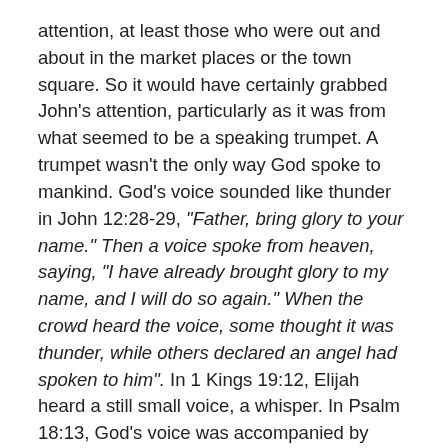attention, at least those who were out and about in the market places or the town square. So it would have certainly grabbed John's attention, particularly as it was from what seemed to be a speaking trumpet. A trumpet wasn't the only way God spoke to mankind. God's voice sounded like thunder in John 12:28-29, "Father, bring glory to your name." Then a voice spoke from heaven, saying, "I have already brought glory to my name, and I will do so again." When the crowd heard the voice, some thought it was thunder, while others declared an angel had spoken to him". In 1 Kings 19:12, Elijah heard a still small voice, a whisper. In Psalm 18:13, God's voice was accompanied by natural events, "The Lord thundered from heaven; the voice of the Most High resounded amid the hail and burning coals".
But I was thinking about today – our lifestyles don't tend to revolve around public places, so how would God grab our attention today? I don't know, but what I do know is that God will tailor-make a way of grabbing the attention